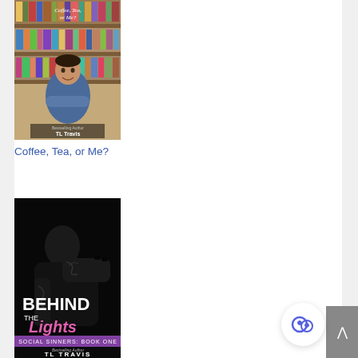[Figure (photo): Book cover for 'Coffee, Tea, or Me?' by TL Travis. Shows a man with crossed arms in a blue shirt in front of bookshelves. Text reads 'Coffee, Tea, or Me?' at top and 'Bestselling Author TL Travis' at bottom.]
Coffee, Tea, or Me?
[Figure (photo): Book cover for 'Behind the Lights' by TL Travis (Social Sinners: Book One). Dark/black background with a tattooed person. Neon pink text reads 'Behind the Lights', purple banner reads 'Social Sinners: Book One', text at bottom reads 'Bestselling Author TL TRAVIS'.]